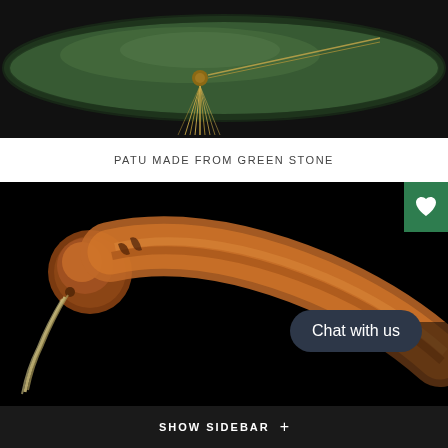[Figure (photo): Close-up photo of a patu (Māori weapon) made from green stone (pounamu/jade) with a golden tassel and cord against a dark background]
PATU MADE FROM GREEN STONE
[Figure (photo): Close-up photo of a wooden patu (Māori club) with rich brown/orange wood grain and a twisted cord/lanyard attached at the handle, against a black background. A 'Chat with us' button overlay is visible.]
SHOW SIDEBAR +